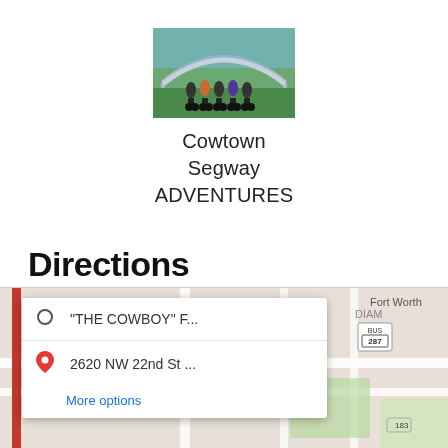[Figure (photo): Photo of a group of people on Segways outdoors with an arch bridge in the background]
Cowtown Segway ADVENTURES
Directions
[Figure (map): Google Maps screenshot showing directions from 'THE COWBOY' F... to 2620 NW 22nd St ... in Fort Worth area, with a directions card overlay showing the two addresses and a 'More options' link. A red route bar is visible on the left. Map shows Fort Worth area with Bus 287 sign and road labeled 183.]